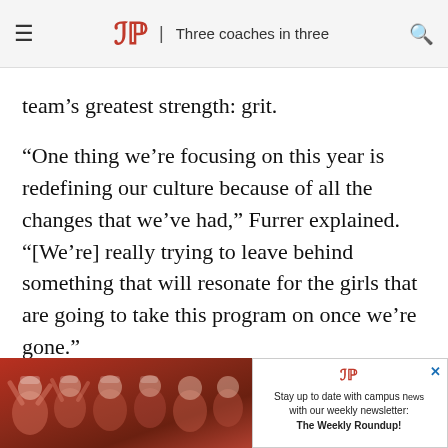DP | Three coaches in three
team’s greatest strength: grit.
“One thing we’re focusing on this year is redefining our culture because of all the changes that we’ve had,” Furrer explained. “[We’re] really trying to leave behind something that will resonate for the girls that are going to take this program on once we’re gone.”
While developing a team’s culture is one thing, making it last is another. That task lies with the
[Figure (photo): Crowd of people in red shirts cheering, appears to be students at a sporting event or rally]
Stay up to date with campus news with our weekly newsletter: The Weekly Roundup!